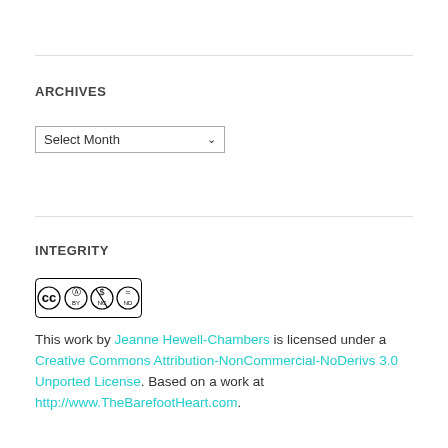ARCHIVES
Select Month
INTEGRITY
[Figure (logo): Creative Commons BY NC ND license badge]
This work by Jeanne Hewell-Chambers is licensed under a Creative Commons Attribution-NonCommercial-NoDerivs 3.0 Unported License. Based on a work at http://www.TheBarefootHeart.com.